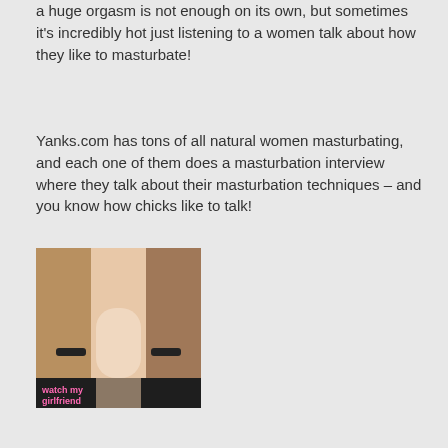a huge orgasm is not enough on its own, but sometimes it's incredibly hot just listening to a women talk about how they like to masturbate!
Yanks.com has tons of all natural women masturbating, and each one of them does a masturbation interview where they talk about their masturbation techniques – and you know how chicks like to talk!
[Figure (photo): Photo of women from behind with text overlay reading 'watch my girlfriend']